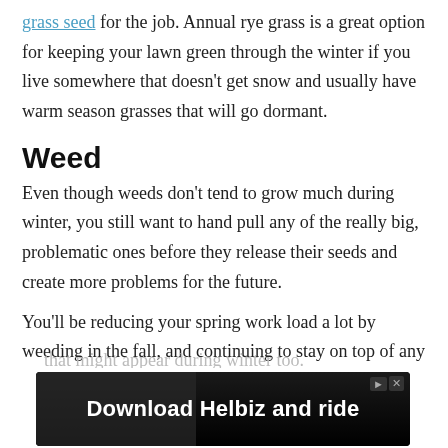grass seed for the job. Annual rye grass is a great option for keeping your lawn green through the winter if you live somewhere that doesn't get snow and usually have warm season grasses that will go dormant.
Weed
Even though weeds don't tend to grow much during winter, you still want to hand pull any of the really big, problematic ones before they release their seeds and create more problems for the future.
You'll be reducing your spring work load a lot by weeding in the fall, and continuing to stay on top of any that might appear during winter too.
[Figure (screenshot): Advertisement banner at the bottom of the page showing 'Download Helbiz and ride' with a dark background and a scooter image]